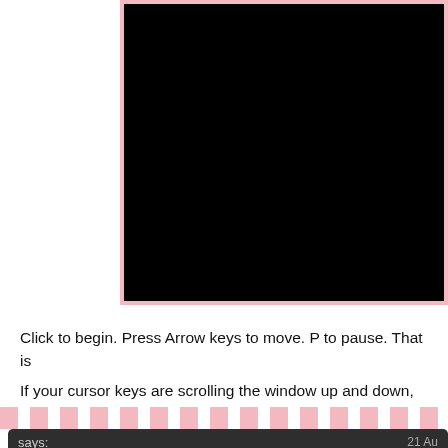[Figure (screenshot): Black game/video screen in a pink frame]
Click to begin. Press Arrow keys to move. P to pause. That is
If your cursor keys are scrolling the window up and down, cli
[Figure (screenshot): Comment section with dark background showing multiple 'says:' entries with dates (21 Au, 26 J, 24 J, 18 J, 16 J, 7 J) and one comment from Hung Nunez: 'Have the App send out push notifications without any extra marketing costs!']